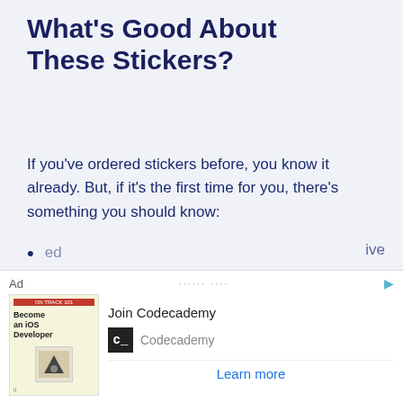What's Good About These Stickers?
If you've ordered stickers before, you know it already. But, if it's the first time for you, there's something you should know:
The stickers are made with a premium UV-resistant vinyl with a unique matte finish only offered by Sticker Mule.
[Figure (screenshot): Advertisement banner for Codecademy showing 'Become an iOS Developer' book cover and 'Join Codecademy' text with Learn more link]